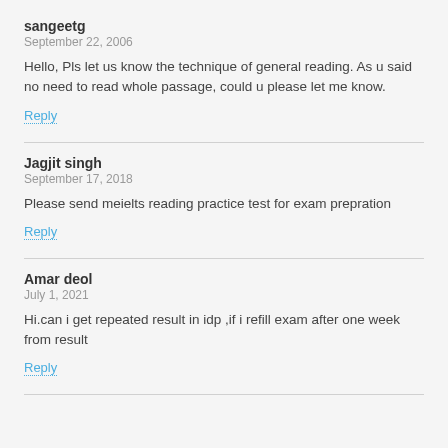sangeetg
September 22, 2006
Hello, Pls let us know the technique of general reading. As u said no need to read whole passage, could u please let me know.
Reply
Jagjit singh
September 17, 2018
Please send meielts reading practice test for exam prepration
Reply
Amar deol
July 1, 2021
Hi.can i get repeated result in idp ,if i refill exam after one week from result
Reply